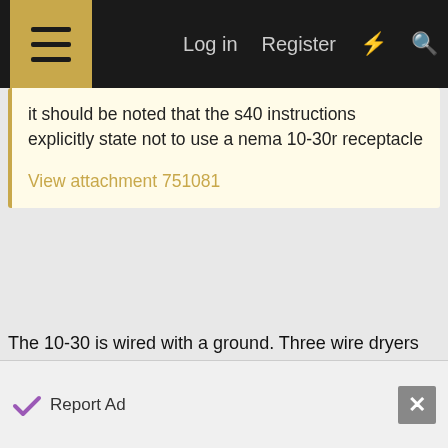☰  Log in  Register  ⚡  🔍
it should be noted that the s40 instructions explicitly state not to use a nema 10-30r receptacle

View attachment 751081
The 10-30 is wired with a ground. Three wire dryers hijack the ground by using it for the 120V neutral as well as safety ground. Because of this, the frame of a dryer may be at a voltage slightly above ground, depending on wire run length and neutral current. My understanding is that code requires new construction to provide 4-wire outlets for dryers, so that neutral and ground are separated.

Probably the bigger issue is that a dryer with any 120V
Report Ad  ✕